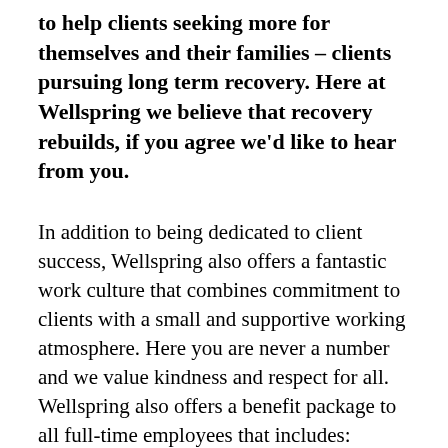to help clients seeking more for themselves and their families – clients pursuing long term recovery. Here at Wellspring we believe that recovery rebuilds, if you agree we'd like to hear from you.
In addition to being dedicated to client success, Wellspring also offers a fantastic work culture that combines commitment to clients with a small and supportive working atmosphere. Here you are never a number and we value kindness and respect for all. Wellspring also offers a benefit package to all full-time employees that includes: